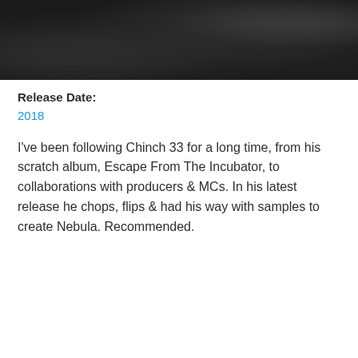[Figure (photo): Dark/black photographic banner image with mottled dark texture and subtle highlights]
Release Date:
2018
I've been following Chinch 33 for a long time, from his scratch album, Escape From The Incubator, to collaborations with producers & MCs. In his latest release he chops, flips & had his way with samples to create Nebula. Recommended.